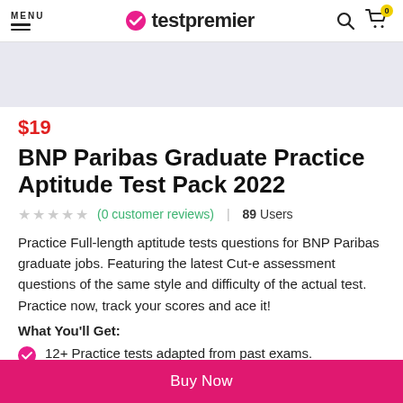MENU | testpremier
[Figure (other): Light gray banner/hero image placeholder]
$19
BNP Paribas Graduate Practice Aptitude Test Pack 2022
(0 customer reviews) | 89 Users
Practice Full-length aptitude tests questions for BNP Paribas graduate jobs. Featuring the latest Cut-e assessment questions of the same style and difficulty of the actual test. Practice now, track your scores and ace it!
What You'll Get:
12+ Practice tests adapted from past exams.
Buy Now